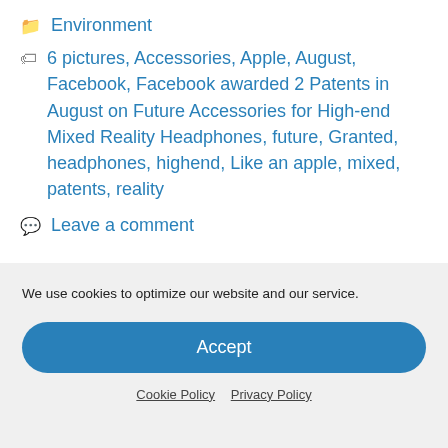Environment
6 pictures, Accessories, Apple, August, Facebook, Facebook awarded 2 Patents in August on Future Accessories for High-end Mixed Reality Headphones, future, Granted, headphones, highend, Like an apple, mixed, patents, reality
Leave a comment
We use cookies to optimize our website and our service.
Accept
Cookie Policy   Privacy Policy